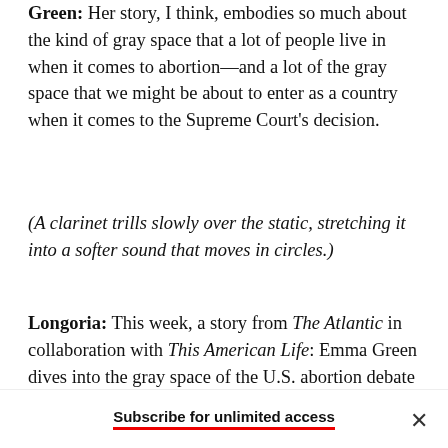Green: Her story, I think, embodies so much about the kind of gray space that a lot of people live in when it comes to abortion—and a lot of the gray space that we might be about to enter as a country when it comes to the Supreme Court's decision.
(A clarinet trills slowly over the static, stretching it into a softer sound that moves in circles.)
Longoria: This week, a story from The Atlantic in collaboration with This American Life: Emma Green dives into the gray space of the U.S. abortion debate with the story of one woman who
Subscribe for unlimited access